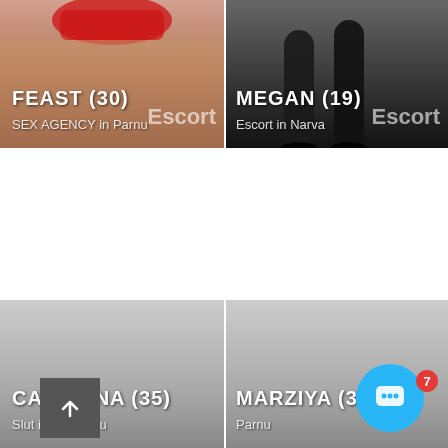[Figure (photo): Top-left card showing partial body image with red clothing, labeled FEAST (30), SEX AGENCY in Parnu with Escort badge]
FEAST (30)
SEX AGENCY in Parnu
[Figure (photo): Top-right card showing legs in dark stockings on grey background, labeled MEGAN (19), Escort in Narva with Escort badge]
MEGAN (19)
Escort in Narva
[Figure (photo): Bottom-left card grey background, labeled CAROLINA (35), Slut in Haapsalu]
CAROLINA (35)
Slut in Haapsalu
[Figure (photo): Bottom-right card grey background, labeled MARZIYA (33), Parnu]
MARZIYA (33)
Parnu